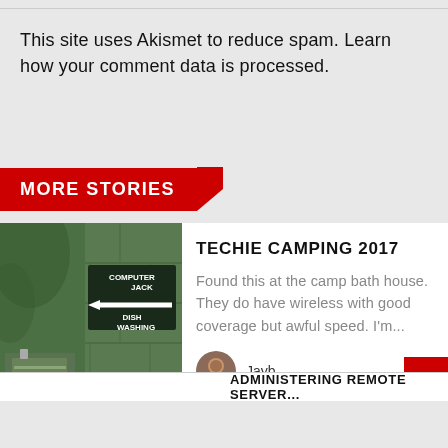This site uses Akismet to reduce spam. Learn how your comment data is processed.
MORE STORIES
[Figure (photo): Outdoor photo of a green cinder block building with a sign reading 'Computer Jack' with an arrow pointing left, and 'Dish Washing' below it.]
TECHIE CAMPING 2017
Found this at the camp bath house. They do have wireless with good coverage but awful speed. I'm...
Jayb